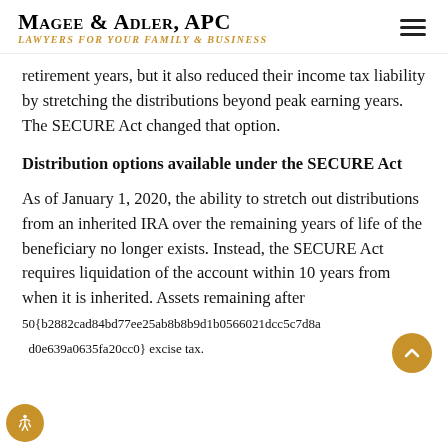Magee & Adler, APC — Lawyers for Your Family & Business
retirement years, but it also reduced their income tax liability by stretching the distributions beyond peak earning years. The SECURE Act changed that option.
Distribution options available under the SECURE Act
As of January 1, 2020, the ability to stretch out distributions from an inherited IRA over the remaining years of life of the beneficiary no longer exists. Instead, the SECURE Act requires liquidation of the account within 10 years from when it is inherited. Assets remaining after 10 years are subject to a 50{b2882cad84bd77ee25ab8b8b9d1b0566021dcc5c7d8ad0e639a0635fa20cc0} excise tax.